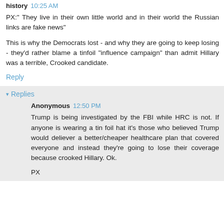history 10:25 AM
PX:" They live in their own little world and in their world the Russian links are fake news"
This is why the Democrats lost - and why they are going to keep losing - they'd rather blame a tinfoil "influence campaign" than admit Hillary was a terrible, Crooked candidate.
Reply
▾ Replies
Anonymous 12:50 PM
Trump is being investigated by the FBI while HRC is not. If anyone is wearing a tin foil hat it's those who believed Trump would deliever a better/cheaper healthcare plan that covered everyone and instead they're going to lose their coverage because crooked Hillary. Ok.
PX